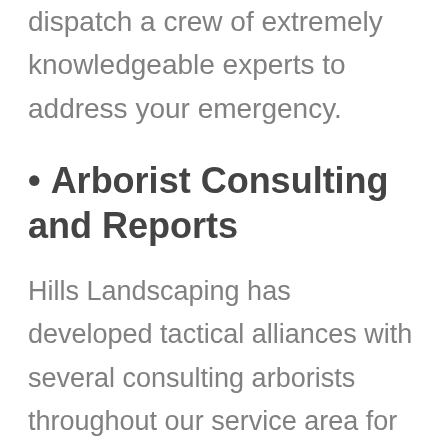dispatch a crew of extremely knowledgeable experts to address your emergency.
• Arborist Consulting and Reports
Hills Landscaping has developed tactical alliances with several consulting arborists throughout our service area for the benefit of our clients.
Our Desi...